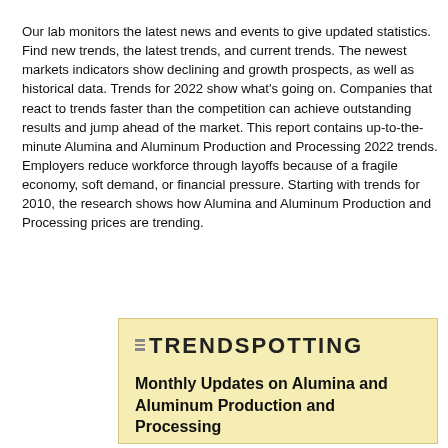Our lab monitors the latest news and events to give updated statistics. Find new trends, the latest trends, and current trends. The newest markets indicators show declining and growth prospects, as well as historical data. Trends for 2022 show what's going on. Companies that react to trends faster than the competition can achieve outstanding results and jump ahead of the market. This report contains up-to-the-minute Alumina and Aluminum Production and Processing 2022 trends. Employers reduce workforce through layoffs because of a fragile economy, soft demand, or financial pressure. Starting with trends for 2010, the research shows how Alumina and Aluminum Production and Processing prices are trending.
[Figure (logo): Trendspotting logo with horizontal bar lines and bold uppercase text]
Monthly Updates on Alumina and Aluminum Production and Processing